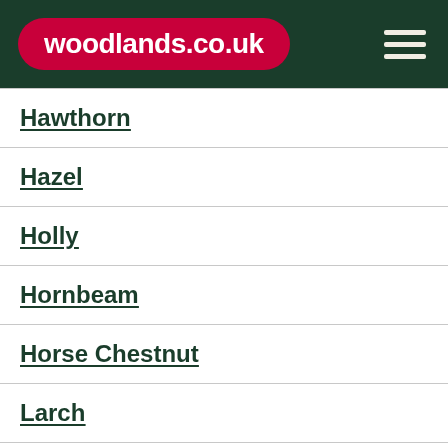woodlands.co.uk
Hawthorn
Hazel
Holly
Hornbeam
Horse Chestnut
Larch
Lime